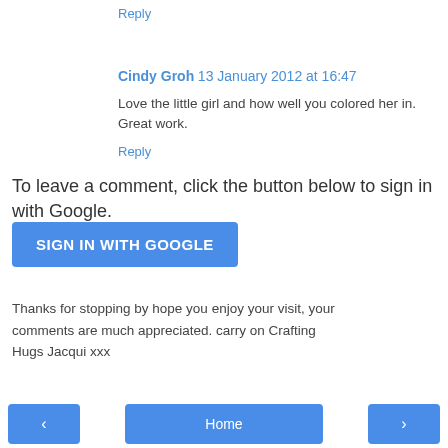Reply
Cindy Groh  13 January 2012 at 16:47
Love the little girl and how well you colored her in. Great work.
Reply
To leave a comment, click the button below to sign in with Google.
[Figure (other): SIGN IN WITH GOOGLE button]
Thanks for stopping by hope you enjoy your visit, your comments are much appreciated. carry on Crafting
Hugs Jacqui xxx
[Figure (other): Navigation buttons: back arrow, Home, forward arrow]